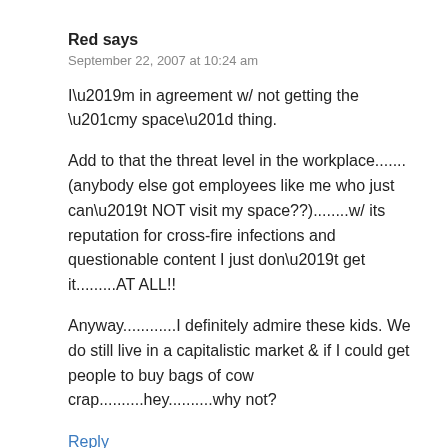Red says
September 22, 2007 at 10:24 am
I’m in agreement w/ not getting the “my space” thing.
Add to that the threat level in the workplace.......(anybody else got employees like me who just can’t NOT visit my space??)........w/ its reputation for cross-fire infections and questionable content I just don’t get it.........AT ALL!!
Anyway............I definitely admire these kids. We do still live in a capitalistic market & if I could get people to buy bags of cow crap..........hey..........why not?
Reply